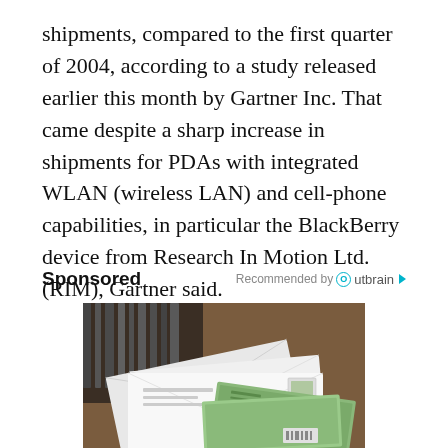shipments, compared to the first quarter of 2004, according to a study released earlier this month by Gartner Inc. That came despite a sharp increase in shipments for PDAs with integrated WLAN (wireless LAN) and cell-phone capabilities, in particular the BlackBerry device from Research In Motion Ltd. (RIM), Gartner said.
Sponsored
Recommended by Outbrain
[Figure (photo): Photograph of scattered envelopes and what appears to be currency/checks on a desk, used as advertisement image]